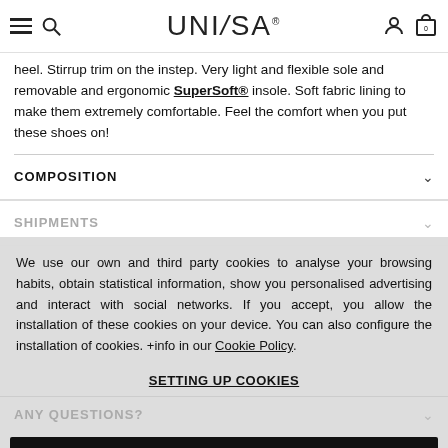UNISA (logo with navigation icons)
heel. Stirrup trim on the instep. Very light and flexible sole and removable and ergonomic SuperSoft® insole. Soft fabric lining to make them extremely comfortable. Feel the comfort when you put these shoes on!
COMPOSITION
SHIPMENTS
We use our own and third party cookies to analyse your browsing habits, obtain statistical information, show you personalised advertising and interact with social networks. If you accept, you allow the installation of these cookies on your device. You can also configure the installation of cookies. +info in our Cookie Policy.
SETTING UP COOKIES
ANY QUESTIONS?
ACCEPT AND CLOSE
SHARE